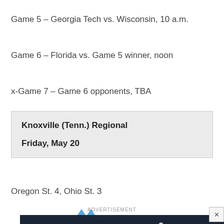Game 5 – Georgia Tech vs. Wisconsin, 10 a.m.
Game 6 – Florida vs. Game 5 winner, noon
x-Game 7 – Game 6 opponents, TBA
Knoxville (Tenn.) Regional
Friday, May 20
Oregon St. 4, Ohio St. 3
ADVERTISEMENT
[Figure (other): Advertisement banner: DoD Tackles Cloud vs. Data Center – Federal News Network, Download Now button]